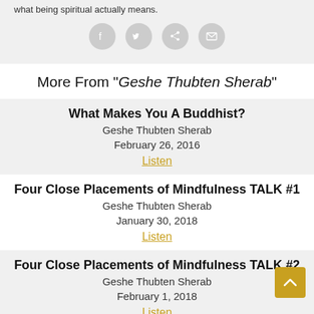what being spiritual actually means.
[Figure (infographic): Social share icons: Facebook, Twitter, Share/forward, Email — four circular grey buttons]
More From "Geshe Thubten Sherab"
What Makes You A Buddhist?
Geshe Thubten Sherab
February 26, 2016
Listen
Four Close Placements of Mindfulness TALK #1
Geshe Thubten Sherab
January 30, 2018
Listen
Four Close Placements of Mindfulness TALK #2
Geshe Thubten Sherab
February 1, 2018
Listen